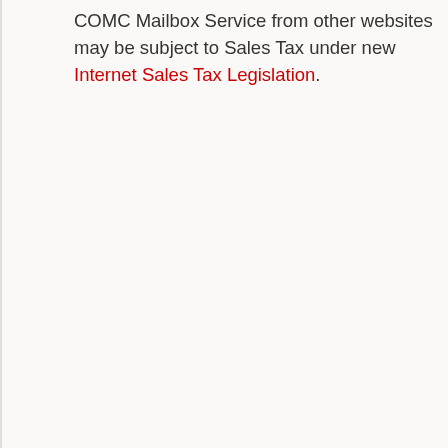COMC Mailbox Service from other websites may be subject to Sales Tax under new Internet Sales Tax Legislation.